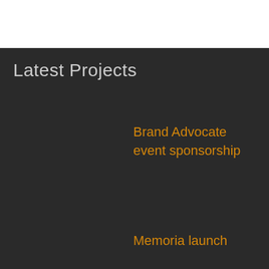Latest Projects
Brand Advocate event sponsorship
Memoria launch